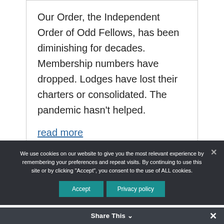Our Order, the Independent Order of Odd Fellows, has been diminishing for decades. Membership numbers have dropped. Lodges have lost their charters or consolidated. The pandemic hasn't helped.
read more
We use cookies on our website to give you the most relevant experience by remembering your preferences and repeat visits. By continuing to use this site or by clicking "Accept", you consent to the use of ALL cookies.
Accept
Privacy policy
Share This